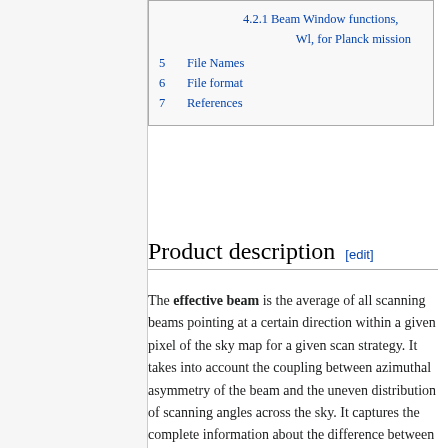4.2.1 Beam Window functions, Wl, for Planck mission
5 File Names
6 File format
7 References
Product description [edit]
The effective beam is the average of all scanning beams pointing at a certain direction within a given pixel of the sky map for a given scan strategy. It takes into account the coupling between azimuthal asymmetry of the beam and the uneven distribution of scanning angles across the sky. It captures the complete information about the difference between the true and observed image of the sky. The effective beams are, by definition, the objects